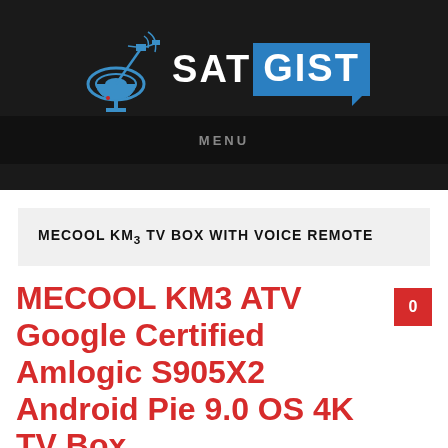[Figure (logo): SatGist website logo with satellite dish icon and blue speech bubble containing GIST text]
MENU
MECOOL KM3 TV BOX WITH VOICE REMOTE
MECOOL KM3 ATV Google Certified Amlogic S905X2 Android Pie 9.0 OS 4K TV Box